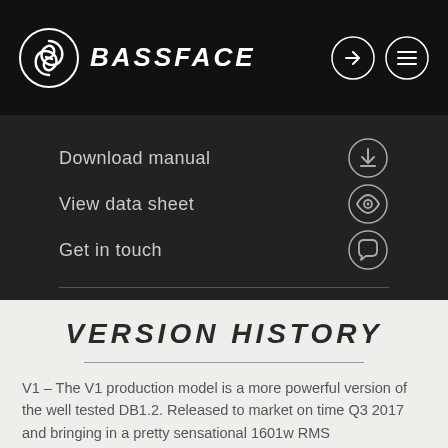[Figure (logo): Bassface brand logo with swirl icon and bold italic BASSFACE text in white on black background]
[Figure (infographic): Dark navigation menu with Download manual, View data sheet, Get in touch options each with circular icons (download arrow, eye, speech bubble), followed by a horizontal divider line]
VERSION HISTORY
V1 – The V1 production model is a more powerful version of the well tested DB1.2. Released to market on time Q3 2017 and bringing in a pretty sensational 1601w RMS